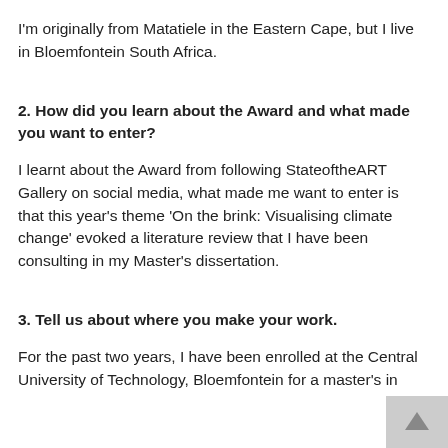I'm originally from Matatiele in the Eastern Cape, but I live in Bloemfontein South Africa.
2. How did you learn about the Award and what made you want to enter?
I learnt about the Award from following StateoftheART Gallery on social media, what made me want to enter is that this year's theme 'On the brink: Visualising climate change' evoked a literature review that I have been consulting in my Master's dissertation.
3. Tell us about where you make your work.
For the past two years, I have been enrolled at the Central University of Technology, Bloemfontein for a master's in